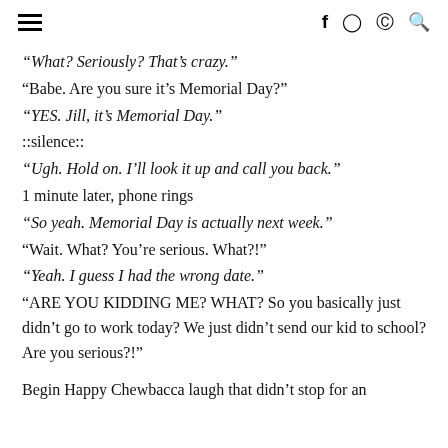≡  f  ⊙  ⊕  🔍
“What? Seriously? That’s crazy.”
“Babe. Are you sure it’s Memorial Day?”
“YES. Jill, it’s Memorial Day.”
::silence::
“Ugh. Hold on. I’ll look it up and call you back.”
1 minute later, phone rings
“So yeah. Memorial Day is actually next week.”
“Wait. What? You’re serious. What?!”
“Yeah. I guess I had the wrong date.”
“ARE YOU KIDDING ME? WHAT? So you basically just didn’t go to work today? We just didn’t send our kid to school? Are you serious?!”
Begin Happy Chewbacca laugh that didn’t stop for an